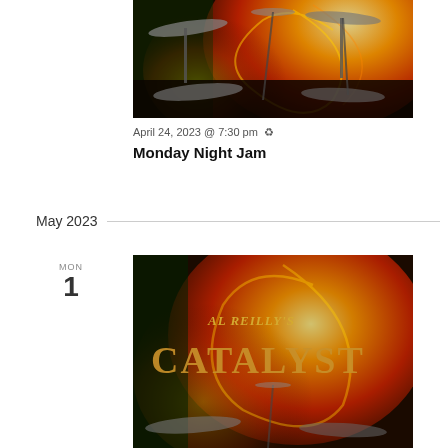[Figure (photo): Drum cymbals on stage with fiery colorful background projection]
April 24, 2023 @ 7:30 pm ↻
Monday Night Jam
May 2023
MON
1
[Figure (photo): Al Reilly's Catalyst band logo with fiery swirl background and drum cymbals]